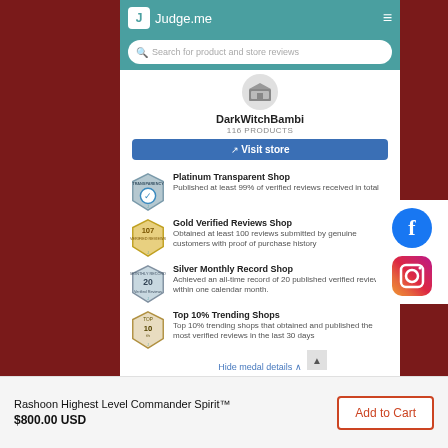Judge.me
Search for product and store reviews
DarkWitchBambi
116 PRODUCTS
Visit store
Platinum Transparent Shop - Published at least 99% of verified reviews received in total
Gold Verified Reviews Shop - Obtained at least 100 reviews submitted by genuine customers with proof of purchase history
Silver Monthly Record Shop - Achieved an all-time record of 20 published verified reviews within one calendar month.
Top 10% Trending Shops - Top 10% trending shops that obtained and published the most verified reviews in the last 30 days
Hide medal details ^
Rashoon Highest Level Commander Spirit™
$800.00 USD
Add to Cart